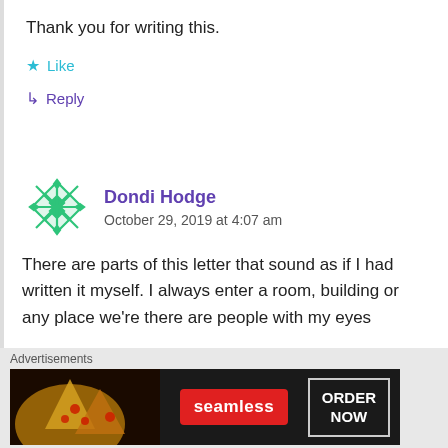Thank you for writing this.
★ Like
↳ Reply
Dondi Hodge
October 29, 2019 at 4:07 am
There are parts of this letter that sound as if I had written it myself. I always enter a room, building or any place we're there are people with my eyes
Advertisements